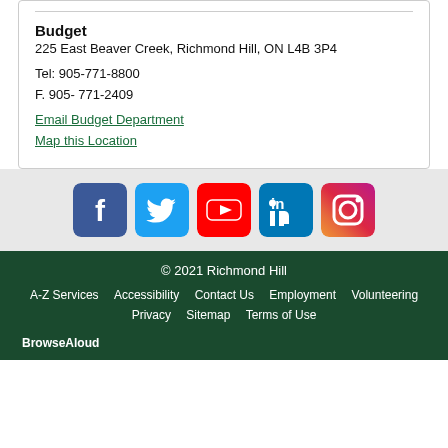Budget
225 East Beaver Creek, Richmond Hill, ON L4B 3P4
Tel: 905-771-8800
F. 905- 771-2409
Email Budget Department
Map this Location
[Figure (infographic): Social media icons row: Facebook (blue), Twitter (light blue), YouTube (red), LinkedIn (blue), Instagram (gradient orange-purple)]
© 2021 Richmond Hill
A-Z Services   Accessibility   Contact Us   Employment   Volunteering
Privacy   Sitemap   Terms of Use
BrowseAloud